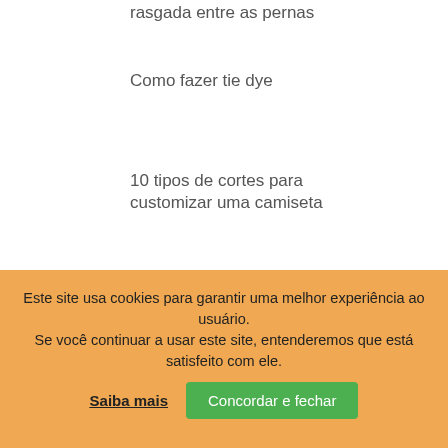rasgada entre as pernas
Como fazer tie dye
10 tipos de cortes para customizar uma camiseta
Este site usa cookies para garantir uma melhor experiência ao usuário.
Se você continuar a usar este site, entenderemos que está satisfeito com ele.
Saiba mais
Concordar e fechar